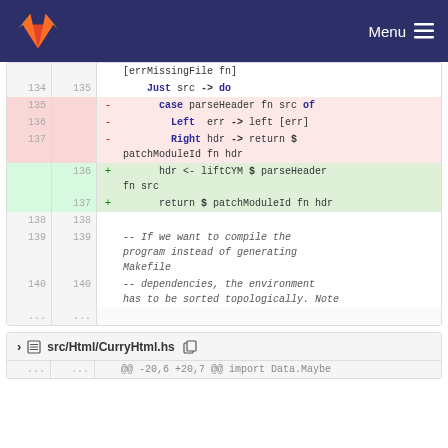GitLab Menu
[Figure (screenshot): Git diff view showing code changes in a Haskell file with line numbers, removed lines (pink background) and added lines (green background). Lines 134-140 and ellipsis visible. Removed lines show case/Left/Right pattern matching; added lines show hdr <- liftCYM and return $ patchModuleId. Comments about compiling program and sorting dependencies topologically.]
src/Html/CurryHtml.hs
@@ -20,6 +20,7 @@ import Data.Maybe